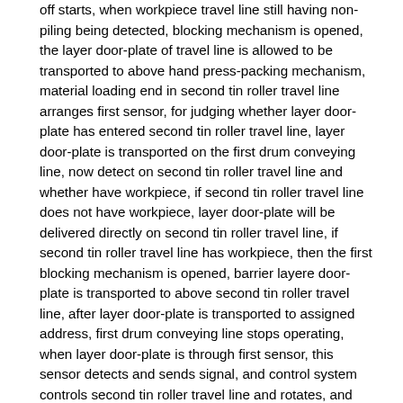off starts, when workpiece travel line still having non-piling being detected, blocking mechanism is opened, the layer door-plate of travel line is allowed to be transported to above hand press-packing mechanism, material loading end in second tin roller travel line arranges first sensor, for judging whether layer door-plate has entered second tin roller travel line, layer door-plate is transported on the first drum conveying line, now detect on second tin roller travel line and whether have workpiece, if second tin roller travel line does not have workpiece, layer door-plate will be delivered directly on second tin roller travel line, if second tin roller travel line has workpiece, then the first blocking mechanism is opened, barrier layere door-plate is transported to above second tin roller travel line, after layer door-plate is transported to assigned address, first drum conveying line stops operating, when layer door-plate is through first sensor, this sensor detects and sends signal, and control system controls second tin roller travel line and rotates, and layer door-plate continues to be fed forward, until blocked by the second blocking mechanism, sensor after being transported to assigned address detects a layer door-plate, and second tin roller travel line stops operating, by the action of lifting mechanism, layer door-